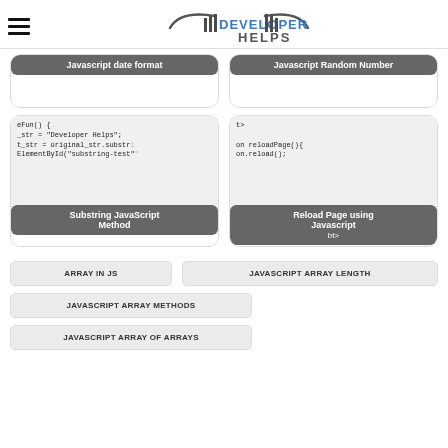DEVELOPER HELPS
[Figure (screenshot): Card showing 'Javascript date format' label with code preview (cut off at top)]
[Figure (screenshot): Card showing 'Javascript Random Number' label with code preview (cut off at top)]
[Figure (screenshot): Card showing code snippet for Substring JavaScript Method with label 'Substring JavaScript Method']
[Figure (screenshot): Card showing code snippet for Reload Page using Javascript with label 'Reload Page using Javascript']
ARRAY IN JS
JAVASCRIPT ARRAY LENGTH
JAVASCRIPT ARRAY METHODS
JAVASCRIPT ARRAY OF ARRAYS